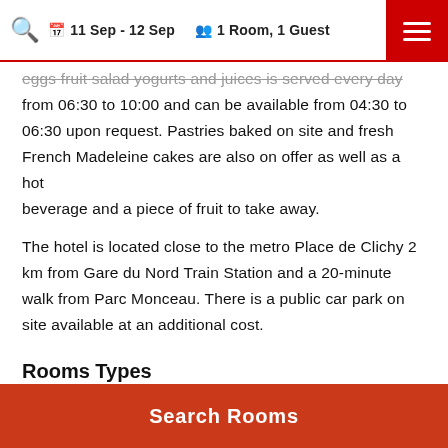11 Sep - 12 Sep   1 Room, 1 Guest
eggs fruit salad yogurts and juices is served every day from 06:30 to 10:00 and can be available from 04:30 to 06:30 upon request. Pastries baked on site and fresh French Madeleine cakes are also on offer as well as a hot beverage and a piece of fruit to take away.
The hotel is located close to the metro Place de Clichy 2 km from Gare du Nord Train Station and a 20-minute walk from Parc Monceau. There is a public car park on site available at an additional cost.
Rooms Types
[Figure (photo): Partial view of a hotel room image strip in golden/yellow tones]
Search Rooms